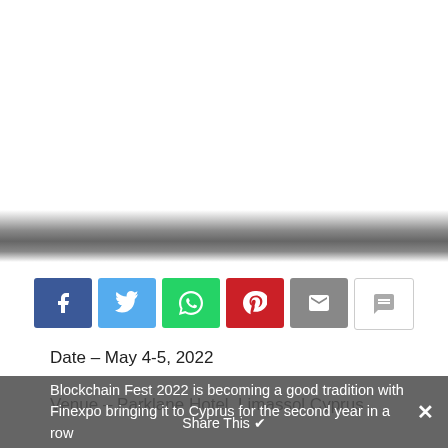[Figure (screenshot): Blank/white upper area representing a page banner image area with a gradient fade at the bottom transitioning to a dark gray band]
[Figure (infographic): Row of social share buttons: Facebook (blue), Twitter (light blue), WhatsApp (green), Pinterest (red), Email (gray), SMS/chat (white/outlined)]
Date – May 4-5, 2022
Venue – Parklane Hotel, Limassol Cyprus
https://blockchain-fest.com/
Blockchain Fest 2022 is becoming a good tradition with Finexpo bringing it to Cyprus for the second year in a row
Share This